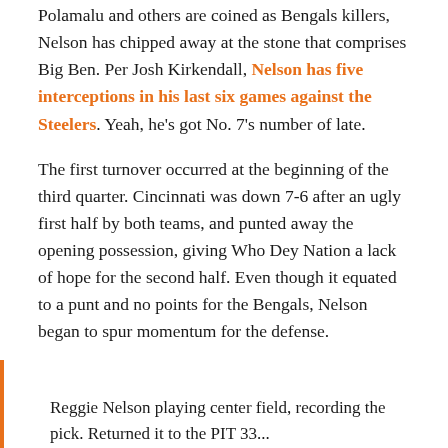Polamalu and others are coined as Bengals killers, Nelson has chipped away at the stone that comprises Big Ben. Per Josh Kirkendall, Nelson has five interceptions in his last six games against the Steelers. Yeah, he's got No. 7's number of late.
The first turnover occurred at the beginning of the third quarter. Cincinnati was down 7-6 after an ugly first half by both teams, and punted away the opening possession, giving Who Dey Nation a lack of hope for the second half. Even though it equated to a punt and no points for the Bengals, Nelson began to spur momentum for the defense.
Reggie Nelson playing center field, recording the pick. Returned it to the PIT 33...